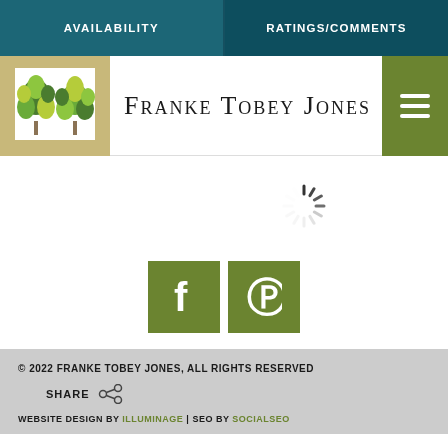AVAILABILITY | RATINGS/COMMENTS
Franke Tobey Jones
[Figure (screenshot): Two loading spinner icons in the content area]
[Figure (illustration): Facebook and Pinterest green social media buttons]
© 2022 FRANKE TOBEY JONES, ALL RIGHTS RESERVED
SHARE
WEBSITE DESIGN BY ILLUMINAGE | SEO BY SOCIALSEO